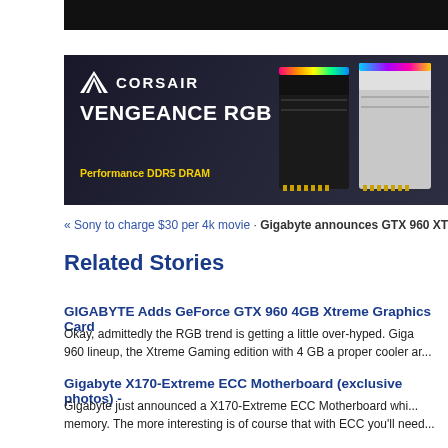[Figure (photo): Dark banner/ad image at top of page]
[Figure (photo): Corsair Vengeance RGB DDR5 advertisement banner showing two RGB RAM sticks on a dark background with Corsair logo, product name VENGEANCE RGB DDR5, and tagline Performance DDR5 DRAM in yellow]
« Sony to charge $30 per 4k movie · Gigabyte announces GTX 960 XTREME G
Related Stories
GIGABYTE Adds GeForce GTX 960 4GB Xtreme Graphics Card
Okay, admittedly the RGB trend is getting a little over-hyped. Giga... 960 lineup, the Xtreme Gaming edition with 4 GB a proper cooler ar...
Gigabyte X170-Extreme ECC Motherboard (exclusive photos) -
Gigabyte just announced a X170-Extreme ECC Motherboard whi... memory. The more interesting is of course that with ECC you'll need...
GIGABYTE 990X-Gaming SLI Motherboard - 03/09/2016 09:24 A...